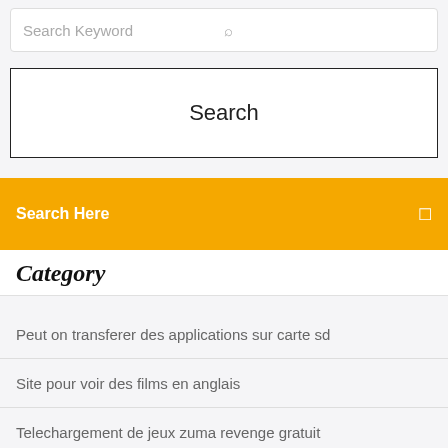Search Keyword
Search
Search Here
Category
Peut on transferer des applications sur carte sd
Site pour voir des films en anglais
Telechargement de jeux zuma revenge gratuit